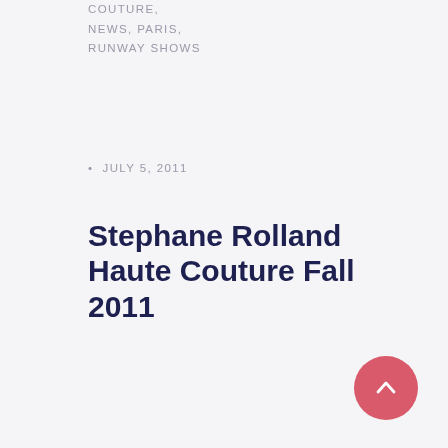COUTURE,
NEWS, PARIS,
RUNWAY SHOWS
• JULY 5, 2011
Stephane Rolland Haute Couture Fall 2011
PARIS, July 5, 2011/FW/— Stephane Rolland Haute Couture this season was beyond beautiful, full of artistic elements and perfectly ...